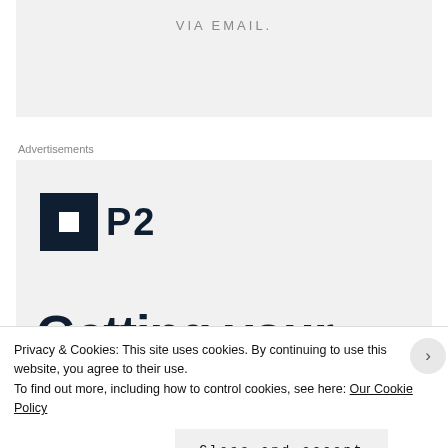VIA EMAIL.
Advertisements
[Figure (logo): P2 logo: dark square icon with white square inside, next to bold text 'P2']
Getting your
Privacy & Cookies: This site uses cookies. By continuing to use this website, you agree to their use.
To find out more, including how to control cookies, see here: Our Cookie Policy
Close and accept